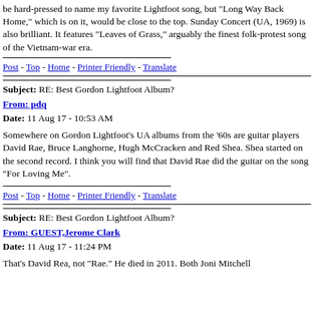be hard-pressed to name my favorite Lightfoot song, but "Long Way Back Home," which is on it, would be close to the top. Sunday Concert (UA, 1969) is also brilliant. It features "Leaves of Grass," arguably the finest folk-protest song of the Vietnam-war era.
Post - Top - Home - Printer Friendly - Translate
Subject: RE: Best Gordon Lightfoot Album?
From: pdq
Date: 11 Aug 17 - 10:53 AM
Somewhere on Gordon Lightfoot's UA albums from the '60s are guitar players David Rae, Bruce Langhorne, Hugh McCracken and Red Shea. Shea started on the second record. I think you will find that David Rae did the guitar on the song "For Loving Me".
Post - Top - Home - Printer Friendly - Translate
Subject: RE: Best Gordon Lightfoot Album?
From: GUEST,Jerome Clark
Date: 11 Aug 17 - 11:24 PM
That's David Rea, not "Rae." He died in 2011. Both Joni Mitchell